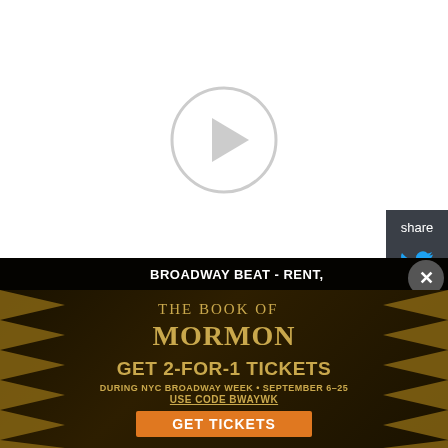[Figure (screenshot): Video player area with circular play button overlay on white/light gray background]
[Figure (screenshot): Share panel on right side with Twitter and Facebook icons on dark gray background]
The Lowell Chamber Orchestra will present "LCO Pride: A Rainbow of Repertoire" on Sunday, June 5, 2022 at Middlesex Community College in Lowell, Massachusetts. This chamber concert will celebrate Pride Month by showcasing LGBTQ+ composers from the Lowell area and around the world.
[Figure (screenshot): Advertisement banner: Broadway Beat - Rent / The Book of Mormon - Get 2-for-1 Tickets during NYC Broadway Week September 6-25, Use Code BWAYWK, Get Tickets button]